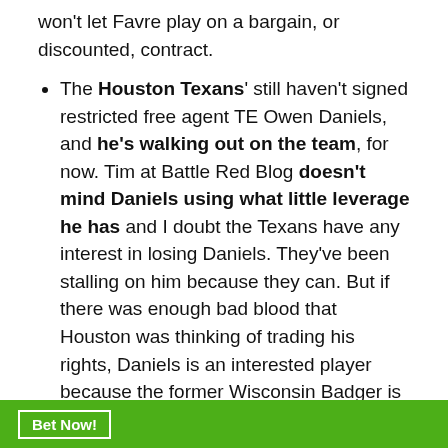won't let Favre play on a bargain, or discounted, contract.
The Houston Texans' still haven't signed restricted free agent TE Owen Daniels, and he's walking out on the team, for now. Tim at Battle Red Blog doesn't mind Daniels using what little leverage he has and I doubt the Texans have any interest in losing Daniels. They've been stalling on him because they can. But if there was enough bad blood that Houston was thinking of trading his rights, Daniels is an interested player because the former Wisconsin Badger is one of the best receiving TEs, ranked 5th in 2008 by Football Outsiders. The Packers could certainly use him.
Bet Now!